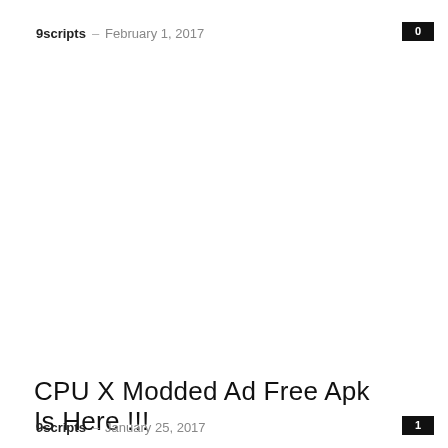9scripts – February 1, 2017
0
CPU X Modded Ad Free Apk Is Here !!!
9scripts – January 25, 2017
1